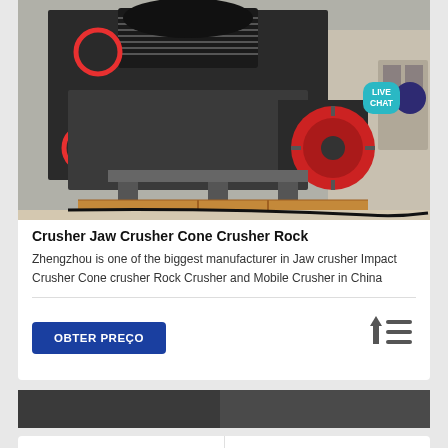[Figure (photo): Industrial cone/jaw crusher machine in a warehouse, showing red circular highlights on components, red flywheel on the right side, and heavy machinery frame on wooden pallets]
Crusher Jaw Crusher Cone Crusher Rock
Zhengzhou is one of the biggest manufacturer in Jaw crusher Impact Crusher Cone crusher Rock Crusher and Mobile Crusher in China
[Figure (other): Sort/order icon with upward arrow and horizontal lines]
[Figure (photo): Partial bottom strip showing two machinery photos side by side]
Investigação
Contate-Nos